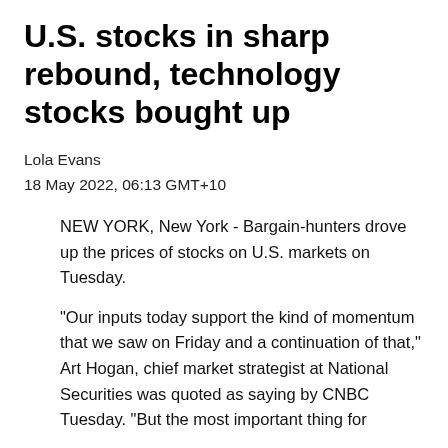U.S. stocks in sharp rebound, technology stocks bought up
Lola Evans
18 May 2022, 06:13 GMT+10
NEW YORK, New York - Bargain-hunters drove up the prices of stocks on U.S. markets on Tuesday.
"Our inputs today support the kind of momentum that we saw on Friday and a continuation of that," Art Hogan, chief market strategist at National Securities was quoted as saying by CNBC Tuesday. "But the most important thing for